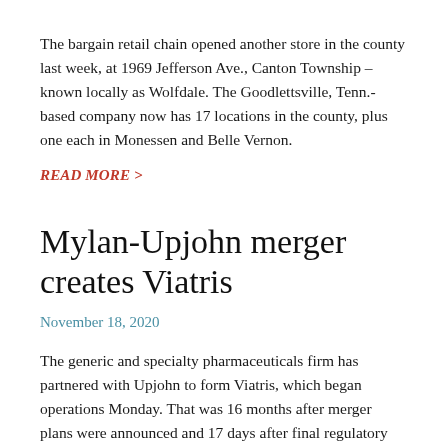The bargain retail chain opened another store in the county last week, at 1969 Jefferson Ave., Canton Township – known locally as Wolfdale. The Goodlettsville, Tenn.-based company now has 17 locations in the county, plus one each in Monessen and Belle Vernon.
READ MORE >
Mylan-Upjohn merger creates Viatris
November 18, 2020
The generic and specialty pharmaceuticals firm has partnered with Upjohn to form Viatris, which began operations Monday. That was 16 months after merger plans were announced and 17 days after final regulatory clearance was granted.